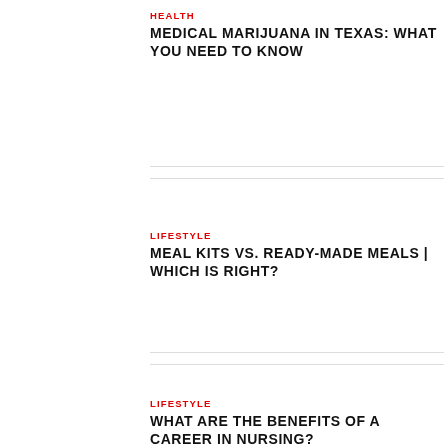HEALTH
MEDICAL MARIJUANA IN TEXAS: WHAT YOU NEED TO KNOW
LIFESTYLE
MEAL KITS VS. READY-MADE MEALS | WHICH IS RIGHT?
LIFESTYLE
WHAT ARE THE BENEFITS OF A CAREER IN NURSING?